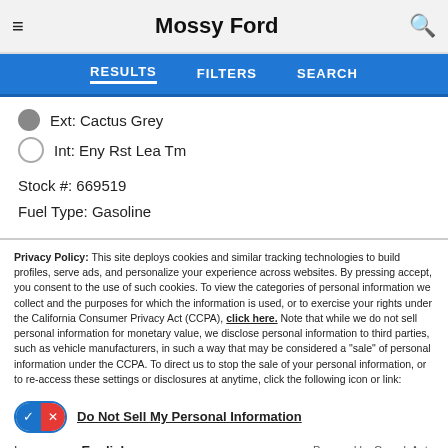Mossy Ford
RESULTS   FILTERS   SEARCH
Ext: Cactus Grey
Int: Eny Rst Lea Tm
Stock #: 669519
Fuel Type: Gasoline
Privacy Policy: This site deploys cookies and similar tracking technologies to build profiles, serve ads, and personalize your experience across websites. By pressing accept, you consent to the use of such cookies. To view the categories of personal information we collect and the purposes for which the information is used, or to exercise your rights under the California Consumer Privacy Act (CCPA), click here. Note that while we do not sell personal information for monetary value, we disclose personal information to third parties, such as vehicle manufacturers, in such a way that may be considered a "sale" of personal information under the CCPA. To direct us to stop the sale of your personal information, or to re-access these settings or disclosures at anytime, click the following icon or link:
Do Not Sell My Personal Information
Language: English   Powered by ComplyAuto
Accept and Continue →   California Privacy Disclosures